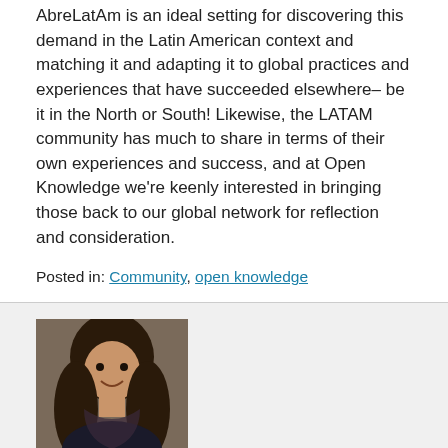AbreLatAm is an ideal setting for discovering this demand in the Latin American context and matching it and adapting it to global practices and experiences that have succeeded elsewhere– be it in the North or South! Likewise, the LATAM community has much to share in terms of their own experiences and success, and at Open Knowledge we're keenly interested in bringing those back to our global network for reflection and consideration.
Posted in: Community, open knowledge
[Figure (photo): Author photo of Mor Rubinstein, a woman with long curly dark hair, smiling, wearing a dark scarf]
About Mor Rubinstein
360Giving Data Lab and Learning Manager, ex OKF International Community Coordinator
[Figure (logo): Creative Commons license badge (CC with i symbol)]